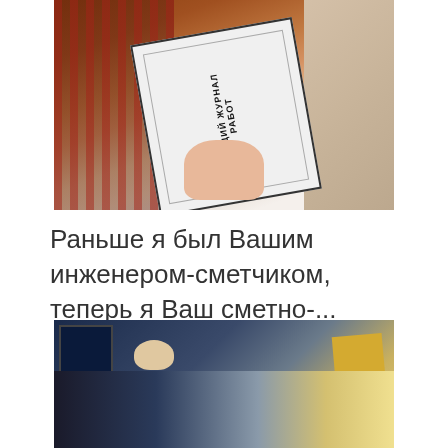[Figure (photo): A person in a plaid shirt holding a white notebook labeled 'ОБЩИЙ ЖУРНАЛ РАБОТ' (General Work Log) against a brick wall background.]
Раньше я был Вашим инженером-сметчиком, теперь я Ваш сметно-...
[Figure (photo): A person sitting at a desk working with a computer monitor, papers, and a yellow book visible on the desk.]